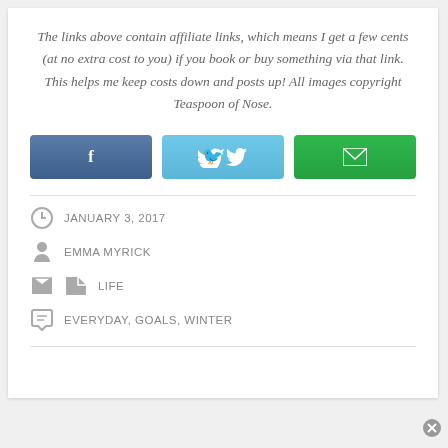The links above contain affiliate links, which means I get a few cents (at no extra cost to you) if you book or buy something via that link. This helps me keep costs down and posts up! All images copyright Teaspoon of Nose.
[Figure (infographic): Three social share buttons: Facebook (dark blue with f icon), Twitter (light blue with bird icon), Email (green with envelope icon)]
JANUARY 3, 2017
EMMA MYRICK
LIFE
EVERYDAY, GOALS, WINTER